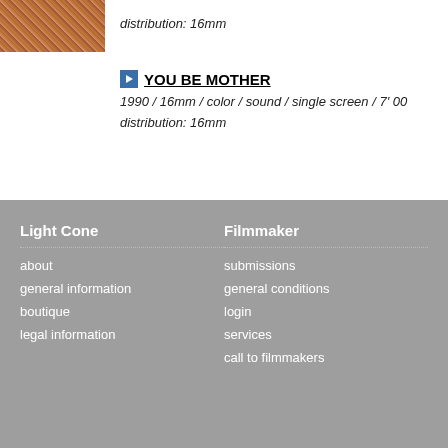[Figure (photo): Partial film thumbnail showing textured orange/brown surface]
distribution: 16mm
YOU BE MOTHER
1990 / 16mm / color / sound / single screen / 7' 00
distribution: 16mm
Light Cone | about | general information | boutique | legal information | Filmmaker | submissions | general conditions | login | services | call to filmmakers